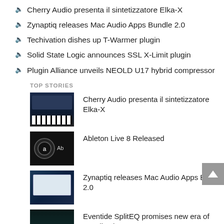Cherry Audio presenta il sintetizzatore Elka-X
Zynaptiq releases Mac Audio Apps Bundle 2.0
Techivation dishes up T-Warmer plugin
Solid State Logic announces SSL X-Limit plugin
Plugin Alliance unveils NEOLD U17 hybrid compressor
TOP STORIES
Cherry Audio presenta il sintetizzatore Elka-X
Ableton Live 8 Released
Zynaptiq releases Mac Audio Apps Bundle 2.0
Eventide SplitEQ promises new era of equalization
ON THE FORUMS
What's New? • Steampunk Weapon Sound effects and